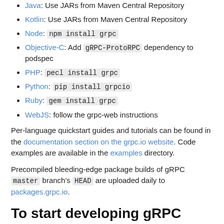Java: Use JARs from Maven Central Repository
Kotlin: Use JARs from Maven Central Repository
Node: npm install grpc
Objective-C: Add gRPC-ProtoRPC dependency to podspec
PHP: pecl install grpc
Python: pip install grpcio
Ruby: gem install grpc
WebJS: follow the grpc-web instructions
Per-language quickstart guides and tutorials can be found in the documentation section on the grpc.io website. Code examples are available in the examples directory.
Precompiled bleeding-edge package builds of gRPC master branch's HEAD are uploaded daily to packages.grpc.io.
To start developing gRPC
Contributions are welcome!
Please read How to contribute which will guide you through